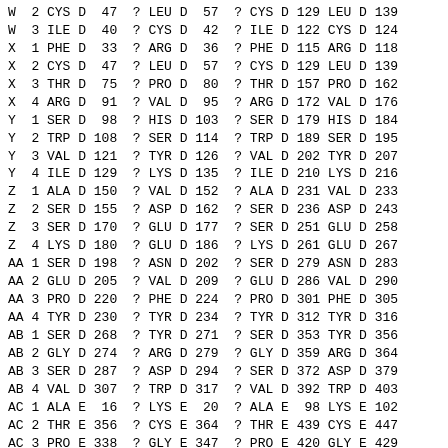W  2 CYS D  47  ? LEU D  57  ? CYS D 129 LEU D 139
W  3 ILE D  40  ? CYS D  42  ? ILE D 122 CYS D 124
X  1 PHE D  33  ? ARG D  36  ? PHE D 115 ARG D 118
X  2 CYS D  47  ? LEU D  57  ? CYS D 129 LEU D 139
X  3 THR D  75  ? PRO D  80  ? THR D 157 PRO D 162
X  4 ARG D  91  ? VAL D  95  ? ARG D 172 VAL D 176
Y  1 SER D  98  ? HIS D 103  ? SER D 179 HIS D 184
Y  2 TRP D 108  ? SER D 114  ? TRP D 189 SER D 195
Y  3 VAL D 121  ? TYR D 126  ? VAL D 202 TYR D 207
Y  4 ILE D 129  ? LYS D 135  ? ILE D 210 LYS D 216
Z  1 ALA D 150  ? VAL D 152  ? ALA D 231 VAL D 233
Z  2 SER D 155  ? ASP D 162  ? SER D 236 ASP D 243
Z  3 SER D 170  ? GLU D 177  ? SER D 251 GLU D 258
Z  4 LYS D 180  ? GLU D 186  ? LYS D 261 GLU D 267
AA 1 SER D 198  ? ASN D 202  ? SER D 279 ASN D 283
AA 2 GLU D 205  ? VAL D 209  ? GLU D 286 VAL D 290
AA 3 PRO D 220  ? PHE D 224  ? PRO D 301 PHE D 305
AA 4 TYR D 230  ? TYR D 234  ? TYR D 312 TYR D 316
AB 1 SER D 268  ? TYR D 271  ? SER D 353 TYR D 356
AB 2 GLY D 274  ? ARG D 279  ? GLY D 359 ARG D 364
AB 3 SER D 287  ? ASP D 294  ? SER D 372 ASP D 379
AB 4 VAL D 307  ? TRP D 317  ? VAL D 392 TRP D 403
AC 1 ALA E  16  ? LYS E  20  ? ALA E  98 LYS E 102
AC 2 THR E 356  ? CYS E 364  ? THR E 439 CYS E 447
AC 3 PRO E 338  ? GLY E 347  ? PRO E 420 GLY E 429
AC 4 SER E 321  ? VAL E 325  ? SER E 407 VAL E 411
AD 1 PHE E  33  ? ARG E  36  ? PHE E 115 ARG E 118
AD 2 CYS E  47  ? LEU E  57  ? CYS E 129 LEU E 139
AD 3 ILE E  40  ? CYS E  42  ? ILE E 122 CYS E 124
AE 1 PHE E  33  ? ARG E  36  ? PHE E 115 ARG E 118